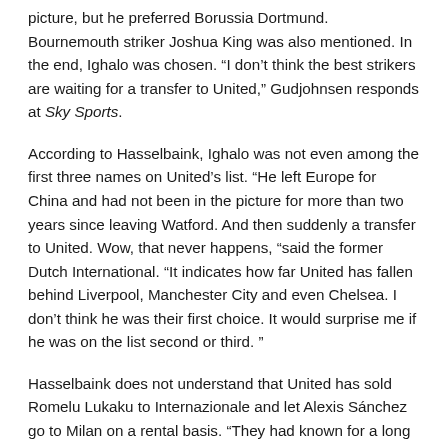picture, but he preferred Borussia Dortmund. Bournemouth striker Joshua King was also mentioned. In the end, Ighalo was chosen. “I don’t think the best strikers are waiting for a transfer to United,” Gudjohnsen responds at Sky Sports.
According to Hasselbaink, Ighalo was not even among the first three names on United’s list. “He left Europe for China and had not been in the picture for more than two years since leaving Watford. And then suddenly a transfer to United. Wow, that never happens, “said the former Dutch International. “It indicates how far United has fallen behind Liverpool, Manchester City and even Chelsea. I don’t think he was their first choice. It would surprise me if he was on the list second or third. ”
Hasselbaink does not understand that United has sold Romelu Lukaku to Internazionale and let Alexis Sánchez go to Milan on a rental basis. “They had known for a long time that they needed a new striker. I don’t know how much money is available, but it’s Manchester United. If you need goals, why don’t you buy Danny Ings? Or Raúl Jiménez from Wolverhampton Wanderers?